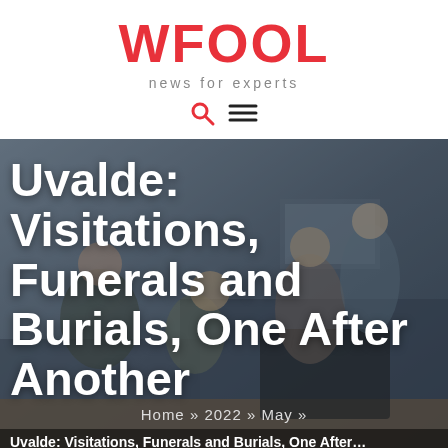WFOOL
news for experts
[Figure (photo): People gathered around a laptop in an office/home setting, used as background image for news article hero]
Uvalde: Visitations, Funerals and Burials, One After Another
Home » 2022 » May »
Uvalde: Visitations, Funerals and Burials, One After…